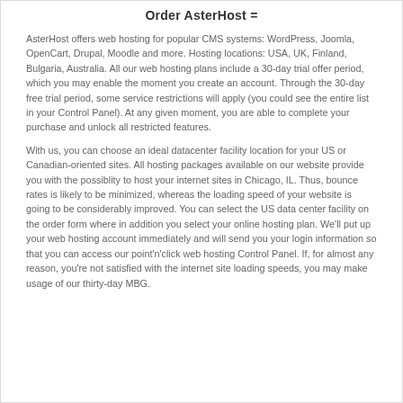Order AsterHost =
AsterHost offers web hosting for popular CMS systems: WordPress, Joomla, OpenCart, Drupal, Moodle and more. Hosting locations: USA, UK, Finland, Bulgaria, Australia. All our web hosting plans include a 30-day trial offer period, which you may enable the moment you create an account. Through the 30-day free trial period, some service restrictions will apply (you could see the entire list in your Control Panel). At any given moment, you are able to complete your purchase and unlock all restricted features.
With us, you can choose an ideal datacenter facility location for your US or Canadian-oriented sites. All hosting packages available on our website provide you with the possiblity to host your internet sites in Chicago, IL. Thus, bounce rates is likely to be minimized, whereas the loading speed of your website is going to be considerably improved. You can select the US data center facility on the order form where in addition you select your online hosting plan. We'll put up your web hosting account immediately and will send you your login information so that you can access our point'n'click web hosting Control Panel. If, for almost any reason, you're not satisfied with the internet site loading speeds, you may make usage of our thirty-day MBG.